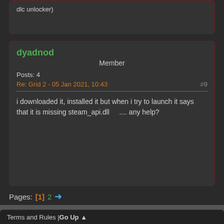dlc unlocker)
dyadnod
Member
Posts: 4
Re: Grid 2 - 05 Jan 2021, 10:43
#9
i downloaded it, installed it but when i try to launch it says that it is missing steam_api.dll    .... any help?
Pages: [1] 2 →
Terms and Rules | Go Up ▲